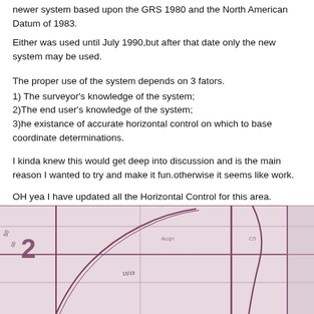newer system based upon the GRS 1980 and the North American Datum of 1983.
Either was used until July 1990,but after that date only the new system may be used.
The proper use of the system depends on 3 fators.
1) The surveyor's knowledge of the system;
2)The end user's knowledge of the system;
3)he existance of accurate horizontal control on which to base coordinate determinations.
I kinda knew this would get deep into discussion and is the main reason I wanted to try and make it fun.otherwise it seems like work.
OH yea I have updated all the Horizontal Control for this area.
I am working on the Image holograph supplied will update soon.
[Figure (map): A scanned surveying or land plat map showing property boundaries and lot numbers, rendered in pink/mauve tones on a light background.]